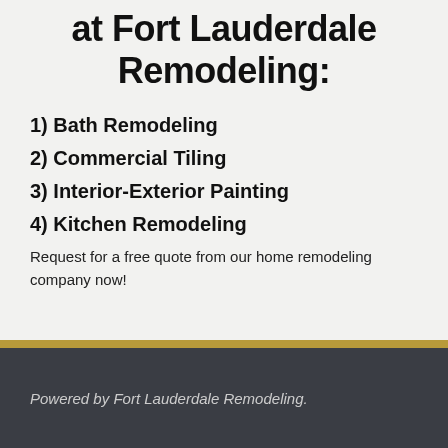at Fort Lauderdale Remodeling:
1) Bath Remodeling
2) Commercial Tiling
3) Interior-Exterior Painting
4) Kitchen Remodeling
Request for a free quote from our home remodeling company now!
Powered by Fort Lauderdale Remodeling.